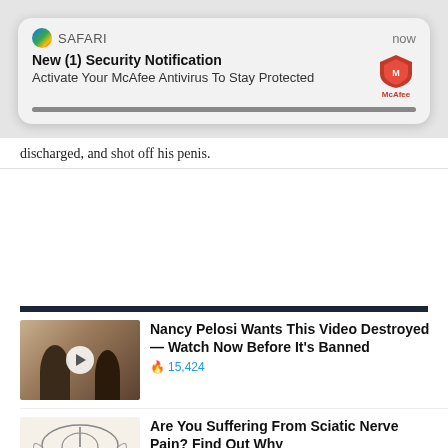[Figure (screenshot): Safari browser push notification: 'New (1) Security Notification - Activate Your McAfee Antivirus To Stay Protected' with McAfee logo, timestamp 'now']
discharged, and shot off his penis.
[Figure (photo): A woman's face in front of a dark background with partially visible text 'ATIO' and 'PAR'. A 'Promoted X' label is visible in the bottom right corner.]
[Figure (screenshot): Promoted ad thumbnail: video thumbnail with play button showing two women outdoors]
Nancy Pelosi Wants This Video Destroyed — Watch Now Before It's Banned
🔥 15,424
[Figure (illustration): Medical illustration of pelvis/sciatic nerve anatomy with red highlighted nerve paths]
Are You Suffering From Sciatic Nerve Pain? Find Out Why
🔥 1,571